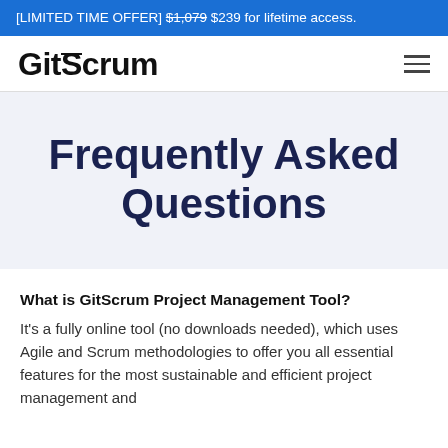[LIMITED TIME OFFER] $1,079 $239 for lifetime access.
GitScrum
Frequently Asked Questions
What is GitScrum Project Management Tool?
It's a fully online tool (no downloads needed), which uses Agile and Scrum methodologies to offer you all essential features for the most sustainable and efficient project management and